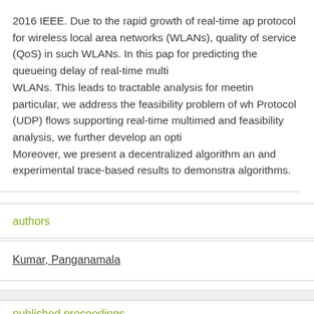2016 IEEE. Due to the rapid growth of real-time ap protocol for wireless local area networks (WLANs), quality of service (QoS) in such WLANs. In this pap for predicting the queueing delay of real-time multi WLANs. This leads to tractable analysis for meetin particular, we address the feasibility problem of wh Protocol (UDP) flows supporting real-time multimed and feasibility analysis, we further develop an opti Moreover, we present a decentralized algorithm an and experimental trace-based results to demonstra algorithms.
authors
Kumar, Panganamala
published proceedings